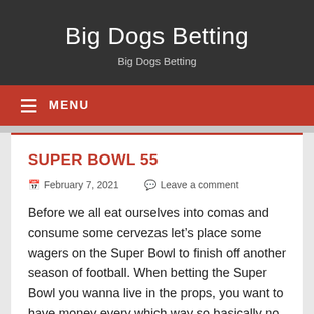Big Dogs Betting
Big Dogs Betting
SUPER BOWL 55
February 7, 2021   Leave a comment
Before we all eat ourselves into comas and consume some cervezas let's place some wagers on the Super Bowl to finish off another season of football. When betting the Super Bowl you wanna live in the props, you want to have money every which way so basically no matter what happens